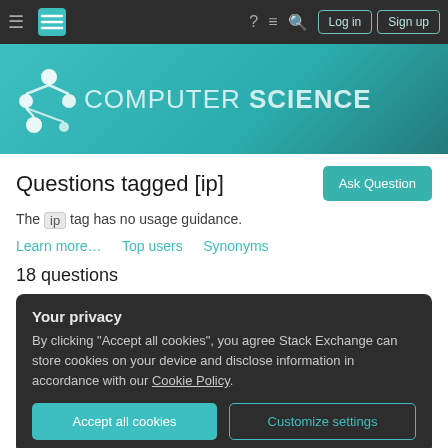Stack Exchange Computer Science — Navigation bar
[Figure (screenshot): Computer Science Stack Exchange site header banner with network graph logo and site name]
Questions tagged [ip]
The ip tag has no usage guidance.
Learn more…   Top users   Synonyms
18 questions
Your privacy
By clicking "Accept all cookies", you agree Stack Exchange can store cookies on your device and disclose information in accordance with our Cookie Policy.
Let's say I visit an IP Checker online, is the OP shown there my IP or the IP of my